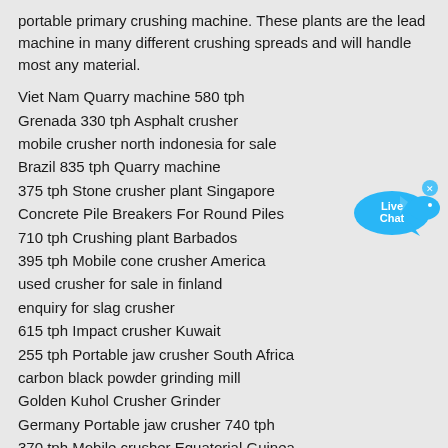portable primary crushing machine. These plants are the lead machine in many different crushing spreads and will handle most any material.
Viet Nam Quarry machine 580 tph
Grenada 330 tph Asphalt crusher
mobile crusher north indonesia for sale
Brazil 835 tph Quarry machine
375 tph Stone crusher plant Singapore
Concrete Pile Breakers For Round Piles
710 tph Crushing plant Barbados
395 tph Mobile cone crusher America
used crusher for sale in finland
enquiry for slag crusher
615 tph Impact crusher Kuwait
255 tph Portable jaw crusher South Africa
carbon black powder grinding mill
Golden Kuhol Crusher Grinder
Germany Portable jaw crusher 740 tph
370 tph Mobile crusher Equatorial Guinea
china gold mining processing equipment gold production line
Pakistan Screen crusher 295 tph
695 tph Crusher Turkey
245 tph Crushing plant Germany
Croatia 710 tph Asphalt crusher
Eritrea 860 tph Primary jaw crusher
[Figure (illustration): Live Chat button widget — blue speech bubble with 'Live Chat' text and a small 'x' close button]